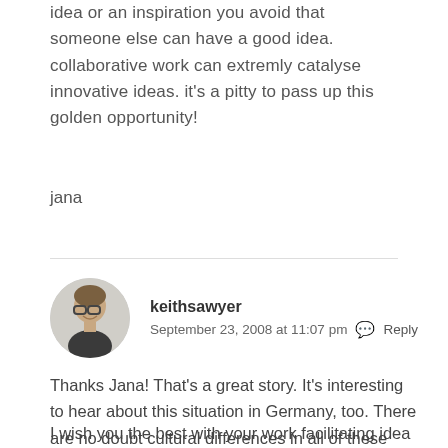idea or an inspiration you avoid that someone else can have a good idea. collaborative work can extremly catalyse innovative ideas. it's a pitty to pass up this golden opportunity!
jana
keithsawyer
September 23, 2008 at 11:07 pm  Reply
Thanks Jana! That's a great story. It's interesting to hear about this situation in Germany, too. There are no doubt cultural differences in all of these aspects of innovation.
I wish you the best with your work facilitating idea